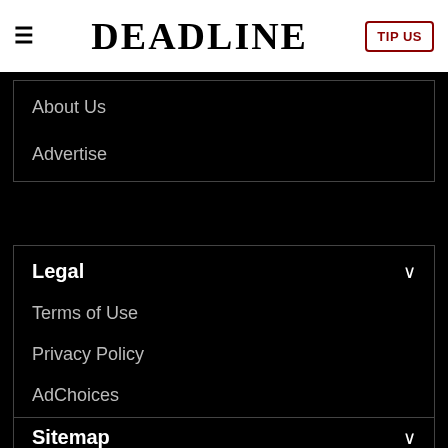DEADLINE
About Us
Advertise
Legal
Terms of Use
Privacy Policy
AdChoices
Sitemap